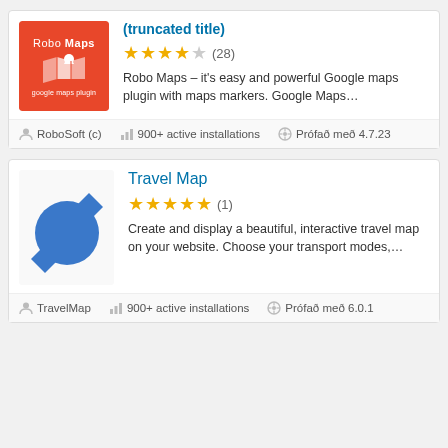[Figure (screenshot): Robo Maps plugin card with orange logo, 3.5 star rating (28 reviews), description text, author RoboSoft (c), 900+ active installations, tested with 4.7.23]
Robo Maps – it's easy and powerful Google maps plugin with maps markers. Google Maps...
RoboSoft (c) | 900+ active installations | Prófað með 4.7.23
[Figure (screenshot): Travel Map plugin card with blue circular logo, 5 star rating (1 review), description text, author TravelMap, 900+ active installations, tested with 6.0.1]
Create and display a beautiful, interactive travel map on your website. Choose your transport modes,...
TravelMap | 900+ active installations | Prófað með 6.0.1